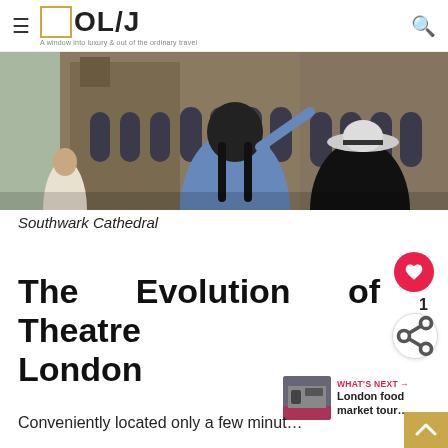≡ □OL/J  A window into luxury & out of the ordinary travel  🔍
[Figure (photo): Tourists viewed from behind looking up at Southwark Cathedral's Gothic stone facade]
Southwark Cathedral
The Evolution of Theatre London
Conveniently located only a few minut…